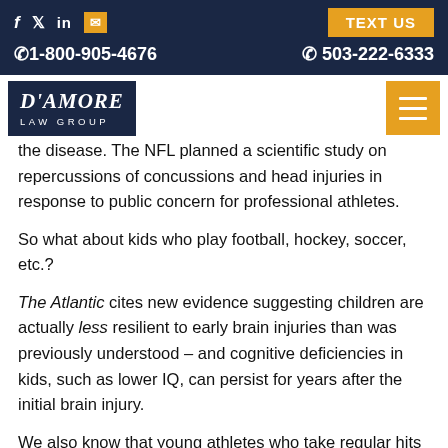f  ✓  in  ✉  TEXT US  ✆ 1-800-905-4676  ✆ 503-222-6333
[Figure (logo): D'Amore Law Group logo on dark navy background with hamburger menu button]
the disease. The NFL planned a scientific study on repercussions of concussions and head injuries in response to public concern for professional athletes.
So what about kids who play football, hockey, soccer, etc.?
The Atlantic cites new evidence suggesting children are actually less resilient to early brain injuries than was previously understood – and cognitive deficiencies in kids, such as lower IQ, can persist for years after the initial brain injury.
We also know that young athletes who take regular hits to the head...